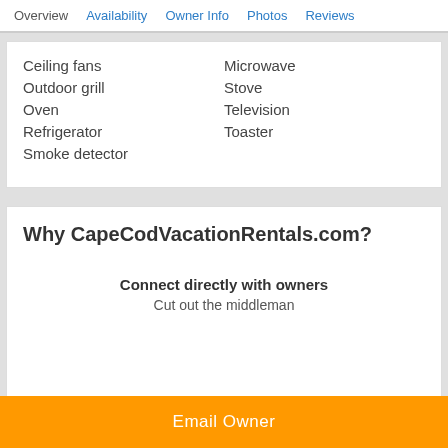Overview Availability Owner Info Photos Reviews
Ceiling fans
Microwave
Outdoor grill
Stove
Oven
Television
Refrigerator
Toaster
Smoke detector
Why CapeCodVacationRentals.com?
Connect directly with owners
Cut out the middleman
Email Owner